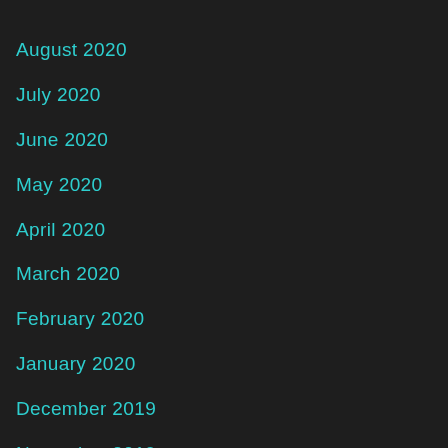August 2020
July 2020
June 2020
May 2020
April 2020
March 2020
February 2020
January 2020
December 2019
November 2019
October 2019